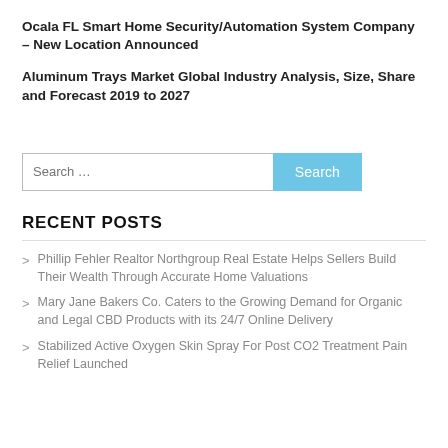Ocala FL Smart Home Security/Automation System Company – New Location Announced
Aluminum Trays Market Global Industry Analysis, Size, Share and Forecast 2019 to 2027
Search ...
RECENT POSTS
Phillip Fehler Realtor Northgroup Real Estate Helps Sellers Build Their Wealth Through Accurate Home Valuations
Mary Jane Bakers Co. Caters to the Growing Demand for Organic and Legal CBD Products with its 24/7 Online Delivery
Stabilized Active Oxygen Skin Spray For Post CO2 Treatment Pain Relief Launched